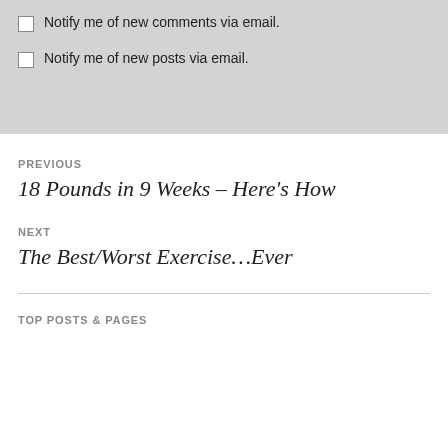Notify me of new comments via email.
Notify me of new posts via email.
PREVIOUS
18 Pounds in 9 Weeks – Here's How
NEXT
The Best/Worst Exercise…Ever
TOP POSTS & PAGES